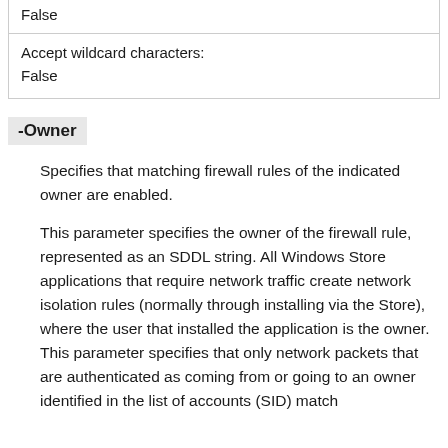| False |
| Accept wildcard characters:
False |
-Owner
Specifies that matching firewall rules of the indicated owner are enabled.
This parameter specifies the owner of the firewall rule, represented as an SDDL string. All Windows Store applications that require network traffic create network isolation rules (normally through installing via the Store), where the user that installed the application is the owner. This parameter specifies that only network packets that are authenticated as coming from or going to an owner identified in the list of accounts (SID) match this rule.